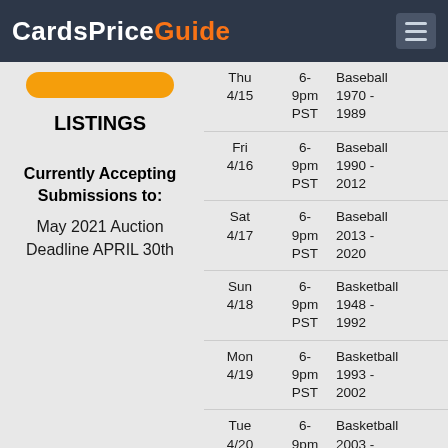CardsPriceGuide
LISTINGS
Currently Accepting Submissions to:
May 2021 Auction Deadline APRIL 30th
| Date | Time | Category |
| --- | --- | --- |
| Thu 4/15 | 6-9pm PST | Baseball 1970 - 1989 |
| Fri 4/16 | 6-9pm PST | Baseball 1990 - 2012 |
| Sat 4/17 | 6-9pm PST | Baseball 2013 - 2020 |
| Sun 4/18 | 6-9pm PST | Basketball 1948 - 1992 |
| Mon 4/19 | 6-9pm PST | Basketball 1993 - 2002 |
| Tue 4/20 | 6-9pm PST | Basketball 2003 - 2012 |
| Wed 4/21 | 6-9pm PST | Basketball 2013 - 2018 |
| Thu 4/22 | 6-9pm PST | Basketball 2019 - 2020 |